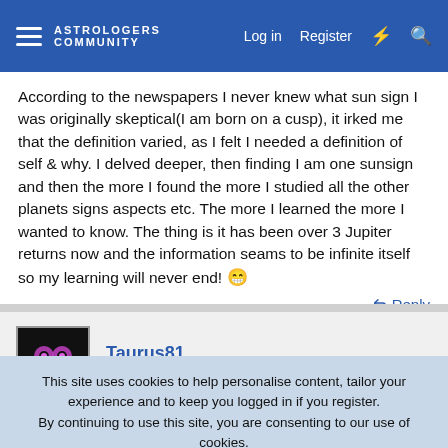ASTROLOGERS COMMUNITY | Log in | Register
According to the newspapers I never knew what sun sign I was originally skeptical(I am born on a cusp), it irked me that the definition varied, as I felt I needed a definition of self & why. I delved deeper, then finding I am one sunsign and then the more I found the more I studied all the other planets signs aspects etc. The more I learned the more I wanted to know. The thing is it has been over 3 Jupiter returns now and the information seams to be infinite itself so my learning will never end! 😁
Reply
Taurus81
Active member
This site uses cookies to help personalise content, tailor your experience and to keep you logged in if you register.
By continuing to use this site, you are consenting to our use of cookies.
Accept | Learn more...